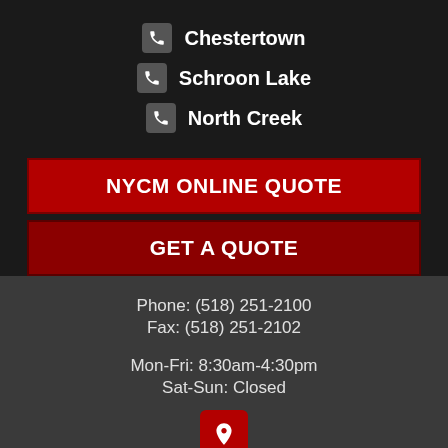Chestertown
Schroon Lake
North Creek
NYCM ONLINE QUOTE
GET A QUOTE
Phone: (518) 251-2100
Fax: (518) 251-2102
Mon-Fri: 8:30am-4:30pm
Sat-Sun: Closed
[Figure (illustration): Red square map pin / location marker icon]